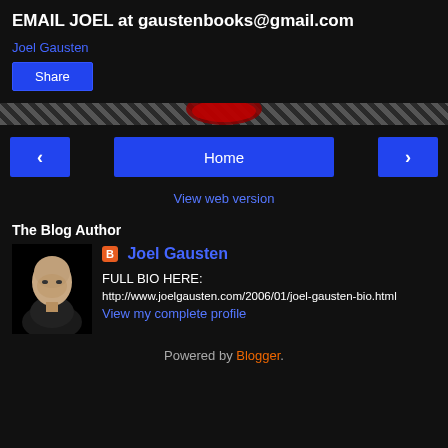EMAIL JOEL at gaustenbooks@gmail.com
Joel Gausten
Share
[Figure (infographic): Decorative striped divider bar with a partial red arc shape at the center top]
< Home >
View web version
The Blog Author
[Figure (photo): Black and white photo of a bald man in a dark jacket against a black background]
Joel Gausten
FULL BIO HERE:
http://www.joelgausten.com/2006/01/joel-gausten-bio.html
View my complete profile
Powered by Blogger.